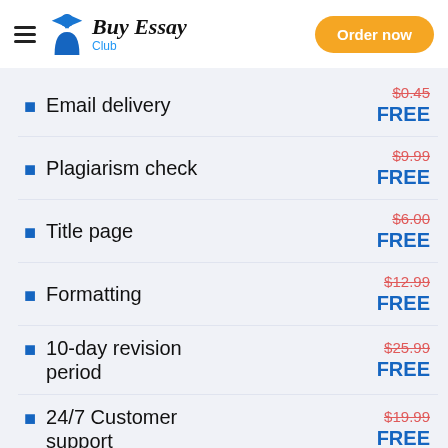Buy Essay Club — Order now
Email delivery
Plagiarism check
Title page
Formatting
10-day revision period
24/7 Customer support